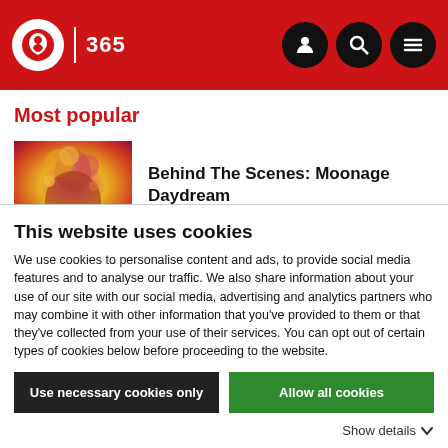IBC 365
Most popular
[Figure (photo): Thumbnail image for article: Behind The Scenes: Moonage Daydream — colorful psychedelic image of a person looking up]
Behind The Scenes: Moonage Daydream
[Figure (photo): Partial thumbnail for article: Advances in virtual production: Where...]
Advances in virtual production: Where
This website uses cookies
We use cookies to personalise content and ads, to provide social media features and to analyse our traffic. We also share information about your use of our site with our social media, advertising and analytics partners who may combine it with other information that you've provided to them or that they've collected from your use of their services. You can opt out of certain types of cookies below before proceeding to the website.
Use necessary cookies only
Allow all cookies
Show details